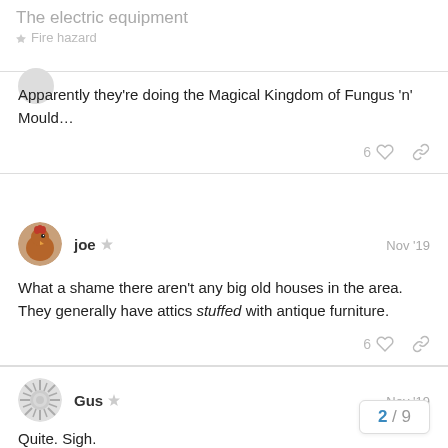The electric equipment
Fire hazard
Apparently they're doing the Magical Kingdom of Fungus 'n' Mould…
joe  Nov '19
What a shame there aren't any big old houses in the area. They generally have attics stuffed with antique furniture.
Gus  Nov '19
Quite. Sigh.
Bad writing is one thing. Stupid plotting is …